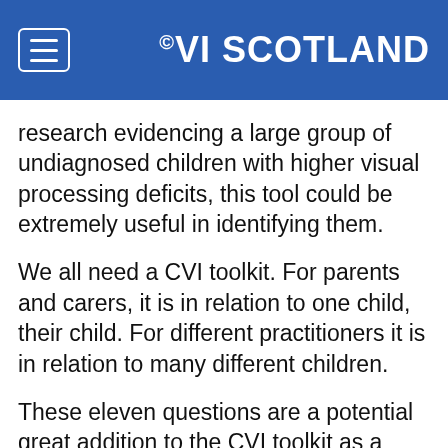CVI SCOTLAND
research evidencing a large group of undiagnosed children with higher visual processing deficits, this tool could be extremely useful in identifying them.
We all need a CVI toolkit. For parents and carers, it is in relation to one child, their child. For different practitioners it is in relation to many different children.
These eleven questions are a potential great addition to the CVI toolkit as a possible